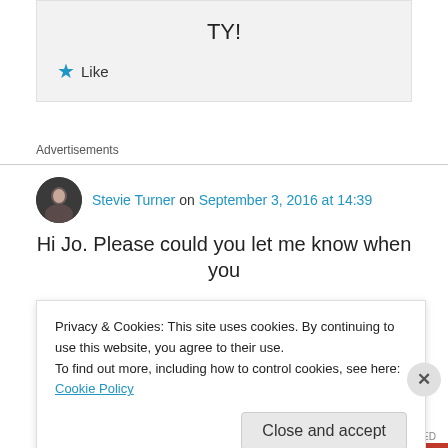TY!
Like
Advertisements
Stevie Turner on September 3, 2016 at 14:39
Hi Jo. Please could you let me know when you
Privacy & Cookies: This site uses cookies. By continuing to use this website, you agree to their use.
To find out more, including how to control cookies, see here: Cookie Policy
Close and accept